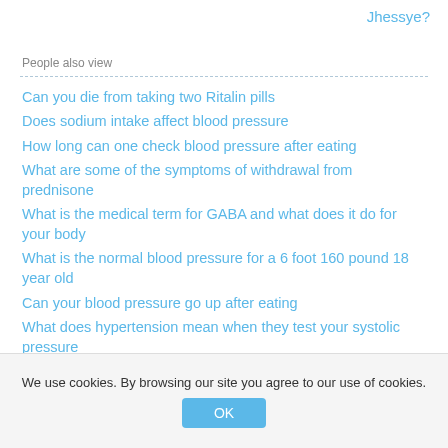Jhessye?
People also view
Can you die from taking two Ritalin pills
Does sodium intake affect blood pressure
How long can one check blood pressure after eating
What are some of the symptoms of withdrawal from prednisone
What is the medical term for GABA and what does it do for your body
What is the normal blood pressure for a 6 foot 160 pound 18 year old
Can your blood pressure go up after eating
What does hypertension mean when they test your systolic pressure
What are the side effects of nifedipine for a pregnant woman
What is the pill Sular (Nisoldpine) used for
Do donuts make you fat
Is the drug Clonidine a narcotic
We use cookies. By browsing our site you agree to our use of cookies.